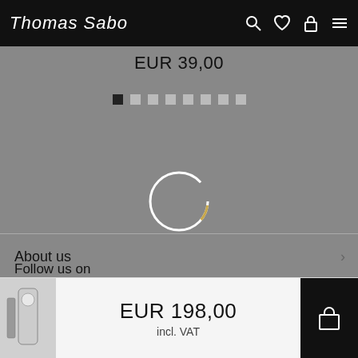Thomas Sabo
EUR 39,00
[Figure (other): Carousel dot indicators: 8 dots, first is active (black square), rest are gray squares]
[Figure (other): Loading spinner ring (circle) partially gold and partially white, centered on gray background]
About us
Customer Service
General
Country & Language
Follow us on
EUR 198,00
incl. VAT